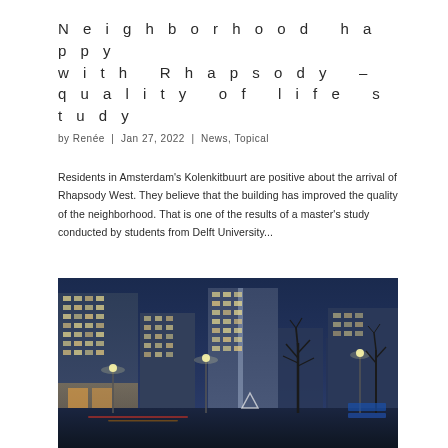Neighborhood happy with Rhapsody – quality of life study
by Renée | Jan 27, 2022 | News, Topical
Residents in Amsterdam's Kolenkitbuurt are positive about the arrival of Rhapsody West. They believe that the building has improved the quality of the neighborhood. That is one of the results of a master's study conducted by students from Delft University...
[Figure (photo): Night/dusk photograph of Rhapsody West building in Amsterdam's Kolenkitbuurt neighborhood. Shows tall modern residential towers lit from within against a dark blue twilight sky, with street lights and light streaks from traffic at ground level, and bare winter trees in the foreground.]